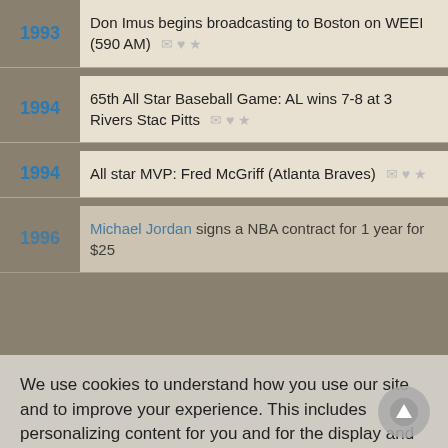1993 — Don Imus begins broadcasting to Boston on WEEI (590 AM)
1994 — 65th All Star Baseball Game: AL wins 7-8 at 3 Rivers Stad Pitts
1994 — All star MVP: Fred McGriff (Atlanta Braves)
We use cookies to understand how you use our site and to improve your experience. This includes personalizing content for you and for the display and tracking of advertising. By continuing to use our site, you accept and agree to our use of cookies. Privacy Policy
1996 — Michael Jordan signs a NBA contract for 1 year for $25